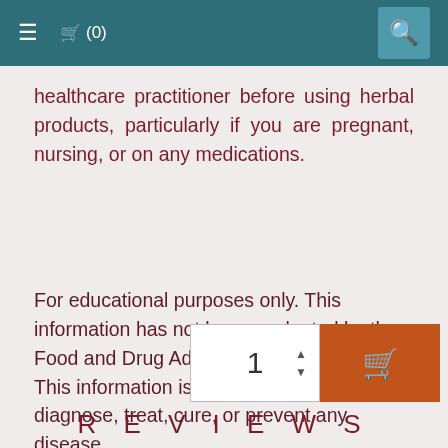≡  🛒 (0)  🔍
healthcare practitioner before using herbal products, particularly if you are pregnant, nursing, or on any medications.
For educational purposes only. This information has not been evaluated by the Food and Drug Administration.
This information is not intended to diagnose, treat, cure, or prevent any disease.
Copyright © 2018 Mountain Rose Herbs
REVIEWS